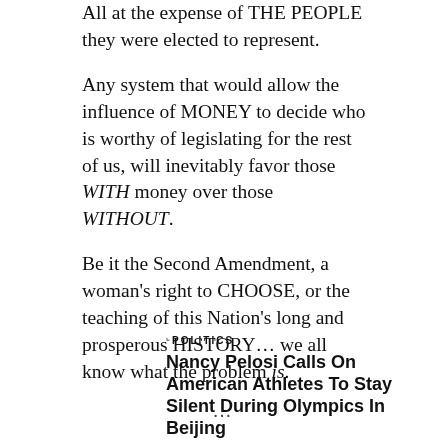All at the expense of THE PEOPLE they were elected to represent.
Any system that would allow the influence of MONEY to decide who is worthy of legislating for the rest of us, will inevitably favor those WITH money over those WITHOUT.
Be it the Second Amendment, a woman’s right to CHOOSE, or the teaching of this Nation’s long and prosperous HISTORY… we all know what the problem is.
…
POLITICS
Nancy Pelosi Calls On American Athletes To Stay Silent During Olympics In Beijing